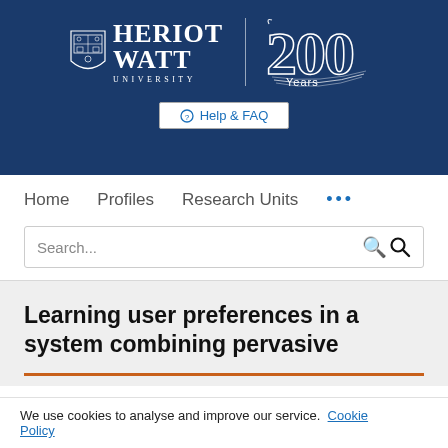[Figure (logo): Heriot-Watt University logo with shield and 200 Years anniversary graphic on dark blue background]
Help & FAQ
Home   Profiles   Research Units   ...
Search...
Learning user preferences in a system combining pervasive
We use cookies to analyse and improve our service.  Cookie Policy